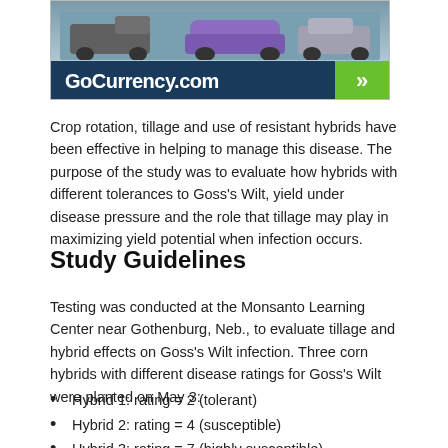[Figure (screenshot): Advertisement banner for GoCurrency.com showing cars in background with blue banner and green arrow button]
Crop rotation, tillage and use of resistant hybrids have been effective in helping to manage this disease. The purpose of the study was to evaluate how hybrids with different tolerances to Goss's Wilt, yield under disease pressure and the role that tillage may play in maximizing yield potential when infection occurs.
Study Guidelines
Testing was conducted at the Monsanto Learning Center near Gothenburg, Neb., to evaluate tillage and hybrid effects on Goss's Wilt infection. Three corn hybrids with different disease ratings for Goss's Wilt were planted on May 3:
Hybrid 1: rating = 2 (tolerant)
Hybrid 2: rating = 4 (susceptible)
Hybrid 3: rating = 7 (highly susceptible)